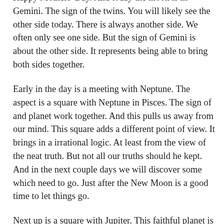Happy Mothers' Day. And today the moon is in Gemini. The sign of the twins. You will likely see the other side today. There is always another side. We often only see one side. But the sign of Gemini is about the other side. It represents being able to bring both sides together.
Early in the day is a meeting with Neptune. The aspect is a square with Neptune in Pisces. The sign of and planet work together. And this pulls us away from our mind. This square adds a different point of view. It brings in a irrational logic. At least from the view of the neat truth. But not all our truths should he kept. And in the next couple days we will discover some which need to go. Just after the New Moon is a good time to let things go.
Next up is a square with Jupiter. This faithful planet is in Virgo. Where Neptune pulls you into the spirit. The planet Jupiter will put of focus on plans. Jupiter is an optimistic sign. This can give us courage. But first we must be able to see from a